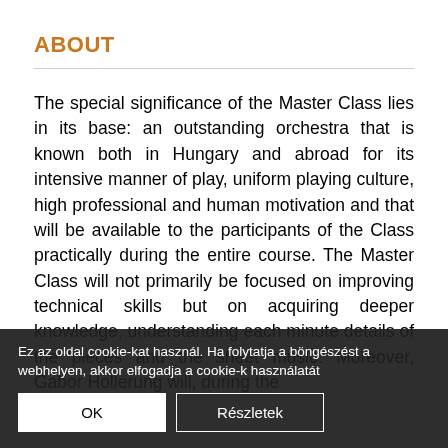ABOUT
The special significance of the Master Class lies in its base: an outstanding orchestra that is known both in Hungary and abroad for its intensive manner of play, uniform playing culture, high professional and human motivation and that will be available to the participants of the Class practically during the entire course. The Master Class will not primarily be focused on improving technical skills but on acquiring deeper knowledge, understanding each minute details of the pieces and the sheet music. Moreover, Gabor Hollerung will, during the
Ez az oldal cookie-kat használ. Ha folytatja a böngészést a webhelyen, akkor elfogadja a cookie-k használatát